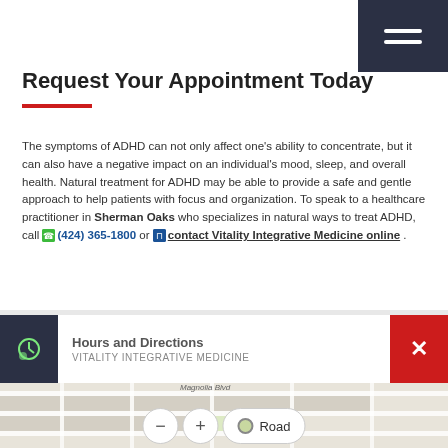Request Your Appointment Today
The symptoms of ADHD can not only affect one's ability to concentrate, but it can also have a negative impact on an individual's mood, sleep, and overall health. Natural treatment for ADHD may be able to provide a safe and gentle approach to help patients with focus and organization. To speak to a healthcare practitioner in Sherman Oaks who specializes in natural ways to treat ADHD, call (424) 365-1800 or contact Vitality Integrative Medicine online.
Hours and Directions
VITALITY INTEGRATIVE MEDICINE
[Figure (map): Street map showing location near Magnolia Blvd with map controls including zoom out, zoom in, and Road view toggle]